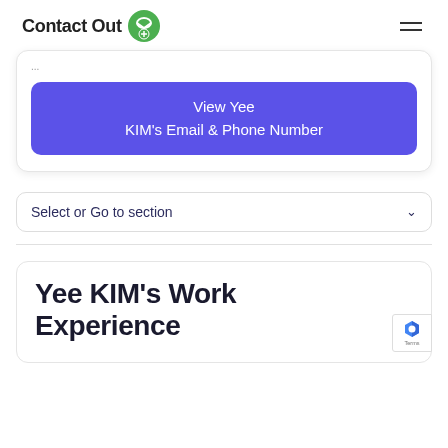ContactOut
View Yee KIM's Email & Phone Number
Select or Go to section
Yee KIM's Work Experience